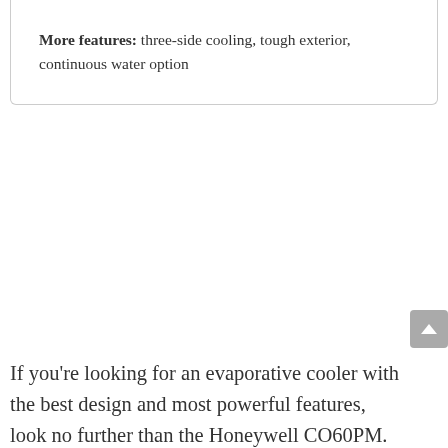More features: three-side cooling, tough exterior, continuous water option
If you're looking for an evaporative cooler with the best design and most powerful features, look no further than the Honeywell CO60PM. It's one of the most expensive evaporative coolers around, but it definitely justifies the price tag with its awesome array of features and powerful functionality, able to cool down close to 1,000 square feet of space with an